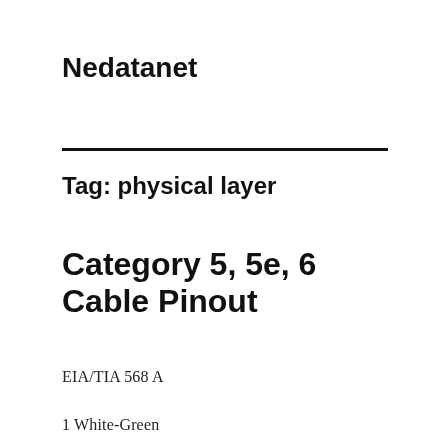Nedatanet
Tag: physical layer
Category 5, 5e, 6 Cable Pinout
EIA/TIA 568 A
1 White-Green